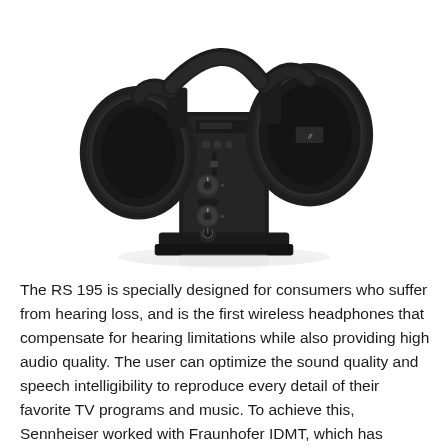[Figure (photo): Sennheiser RS 195 wireless headphones shown docked in their charging station/transmitter base. The headphones are black over-ear style, displayed from a slight angle showing the base unit with control knobs, power button, and the Sennheiser logo on the right ear cup. The image has a white background with a subtle reflection beneath the base unit.]
The RS 195 is specially designed for consumers who suffer from hearing loss, and is the first wireless headphones that compensate for hearing limitations while also providing high audio quality. The user can optimize the sound quality and speech intelligibility to reproduce every detail of their favorite TV programs and music. To achieve this, Sennheiser worked with Fraunhofer IDMT, which has developed signal